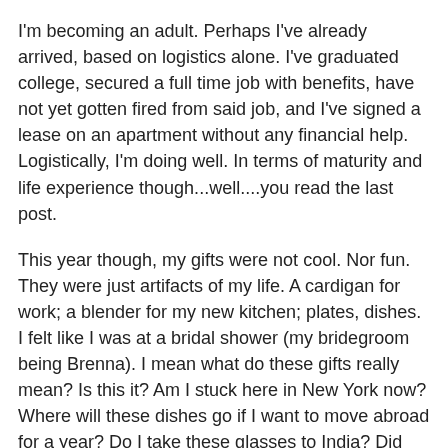I'm becoming an adult. Perhaps I've already arrived, based on logistics alone. I've graduated college, secured a full time job with benefits, have not yet gotten fired from said job, and I've signed a lease on an apartment without any financial help. Logistically, I'm doing well. In terms of maturity and life experience though...well....you read the last post.
This year though, my gifts were not cool. Nor fun. They were just artifacts of my life. A cardigan for work; a blender for my new kitchen; plates, dishes. I felt like I was at a bridal shower (my bridegroom being Brenna). I mean what do these gifts really mean? Is this it? Am I stuck here in New York now? Where will these dishes go if I want to move abroad for a year? Do I take these glasses to India? Did David Foster Wallace have European style cutlery at my age? I appreciated the gifts, and they will go to great use in my apartment, but I found myself looking longingly at my sister's new iPod. That little pink nano was my youth, my former Christmas wish. And now, NOW, I had a blender.
I know it's stupid that a blender could freak me out like this